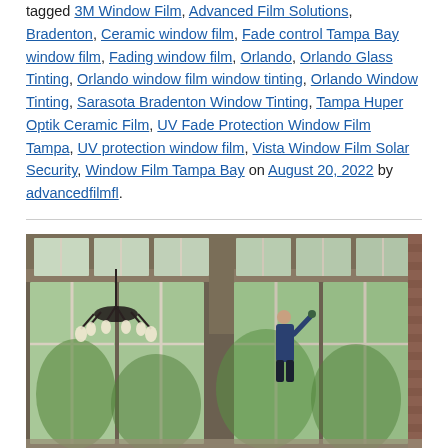tagged 3M Window Film, Advanced Film Solutions, Bradenton, Ceramic window film, Fade control Tampa Bay window film, Fading window film, Orlando, Orlando Glass Tinting, Orlando window film window tinting, Orlando Window Tinting, Sarasota Bradenton Window Tinting, Tampa Huper Optik Ceramic Film, UV Fade Protection Window Film Tampa, UV protection window film, Vista Window Film Solar Security, Window Film Tampa Bay on August 20, 2022 by advancedfilmfl.
[Figure (photo): Interior photo of a large room with floor-to-ceiling windows and a chandelier. A person is applying window film to the glass panels. Lush green trees are visible outside. The room has a high ceiling with additional transom windows and brick wall on the right.]